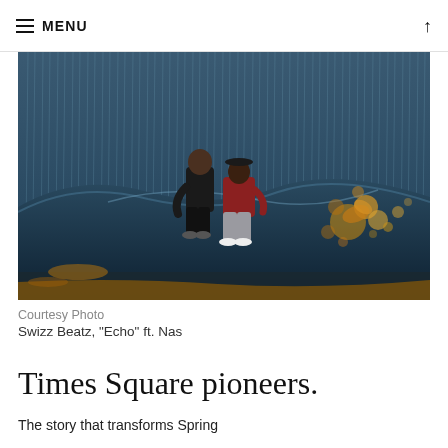≡ MENU ↑
[Figure (photo): Two men sitting atop a dark wave in an artistic, surreal scene with blue rain streaking down vertically and golden/orange flower splashes to the right. Both figures wear casual/streetwear clothing. The overall palette is dark teal/blue with warm gold accents.]
Courtesy Photo
Swizz Beatz, "Echo" ft. Nas
Times Square pioneers.
The story that transforms Spring...